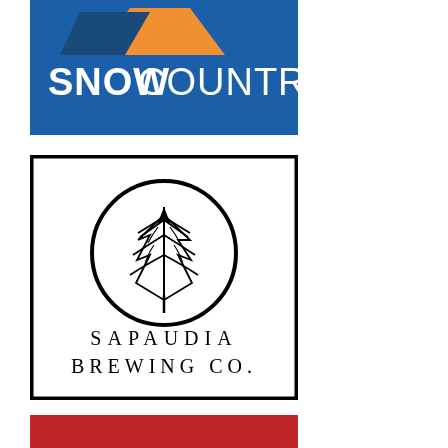[Figure (logo): Snow Country logo: blue background with orange mountain/tent peak graphic and white bold text reading SNOWCOUNTRY]
[Figure (logo): Sapaudia Brewing Co. logo: black border rectangle, circular emblem with stylized evergreen tree line drawing, text SAPAUDIA BREWING CO. in wide-spaced capital letters below]
[Figure (logo): Partially visible red background logo at bottom of page, content cut off]